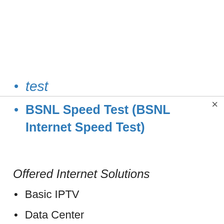test
BSNL Speed Test (BSNL Internet Speed Test)
Offered Internet Solutions
Basic IPTV
Data Center
Optical Internet
Static IP Address and etc,.